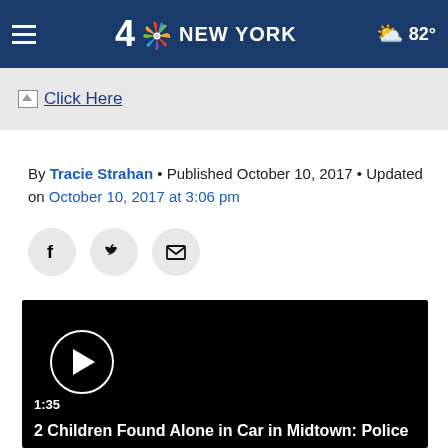4 NBC NEW YORK  82°
[Figure (screenshot): Click Here ad banner with broken image icon]
By Tracie Strahan • Published October 10, 2017 • Updated on October 10, 2017 at 3:06 pm
[Figure (other): Social sharing icons: Facebook, Twitter, Email]
[Figure (other): Video player: 2 Children Found Alone in Car in Midtown: Police, duration 1:35]